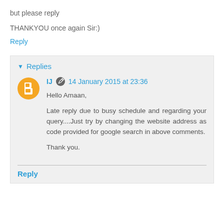but please reply
THANKYOU once again Sir:)
Reply
Replies
IJ  14 January 2015 at 23:36
Hello Amaan,

Late reply due to busy schedule and regarding your query....Just try by changing the website address as code provided for google search in above comments.

Thank you.
Reply